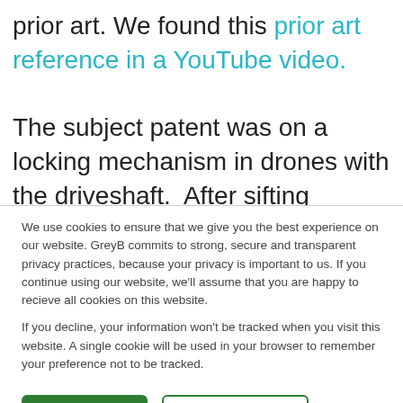prior art. We found this prior art reference in a YouTube video.
The subject patent was on a locking mechanism in drones with the driveshaft.  After sifting through a lot of product manuals, research papers, blog articles, and patent documents, we only had some state-of-
We use cookies to ensure that we give you the best experience on our website. GreyB commits to strong, secure and transparent privacy practices, because your privacy is important to us. If you continue using our website, we'll assume that you are happy to recieve all cookies on this website.

If you decline, your information won't be tracked when you visit this website. A single cookie will be used in your browser to remember your preference not to be tracked.